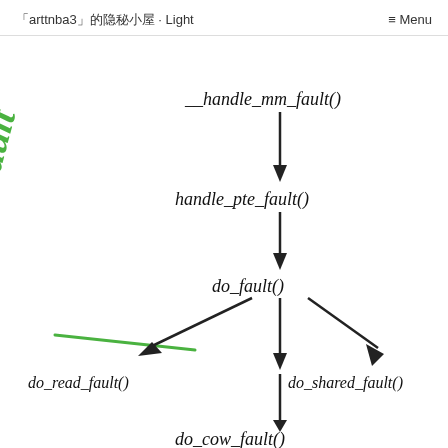「arttnba3」的隐秘小屋 · Light    ≡ Menu
[Figure (flowchart): Handwritten flowchart showing Linux kernel page fault handling call chain: __handle_mm_fault() -> handle_pte_fault() -> do_fault() which branches to do_read_fault(), do_cow_fault(), and do_shared_fault(). Annotated with green handwritten text 'Page Fault' on the left side.]